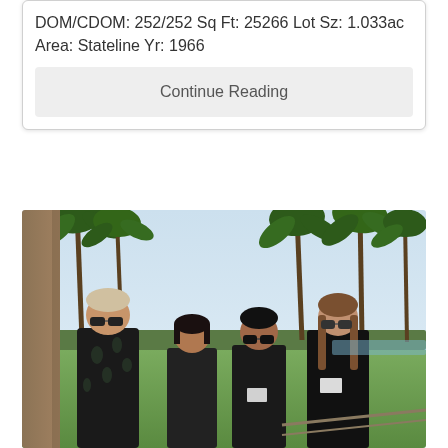DOM/CDOM: 252/252 Sq Ft: 25266 Lot Sz: 1.033ac Area: Stateline Yr: 1966
Continue Reading
[Figure (photo): Four people standing outdoors on a terrace or patio area with palm trees in the background. From left to right: a heavyset man wearing sunglasses and a dark floral shirt, a shorter woman in dark clothing, a woman wearing sunglasses in dark clothing, and a taller woman with long hair wearing sunglasses and dark clothing. The setting appears to be a resort or club with lush greenery and palm trees visible behind them.]